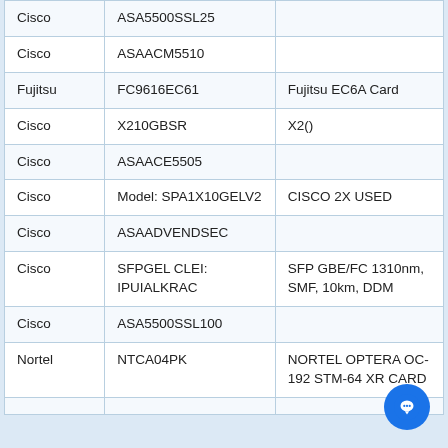| Cisco | ASA5500SSL25 |  |
| Cisco | ASAACM5510 |  |
| Fujitsu | FC9616EC61 | Fujitsu EC6A Card |
| Cisco | X210GBSR | X2() |
| Cisco | ASAACE5505 |  |
| Cisco | Model: SPA1X10GELV2 | CISCO 2X USED |
| Cisco | ASAADVENDSEC |  |
| Cisco | SFPGEL CLEI: IPUIALKRAC | SFP GBE/FC 1310nm, SMF, 10km, DDM |
| Cisco | ASA5500SSL100 |  |
| Nortel | NTCA04PK | NORTEL OPTERA OC-192 STM-64 XR CARD |